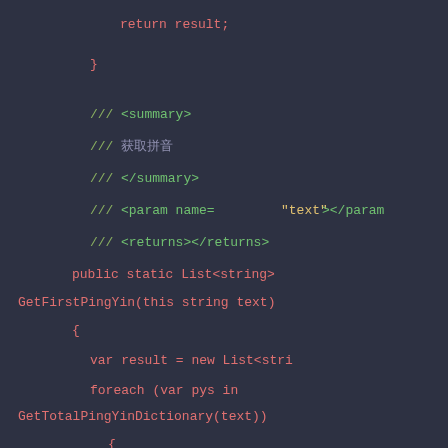[Figure (screenshot): Code editor screenshot showing C# source code with XML documentation comments and a method definition GetFirstPingYin on a dark background.]